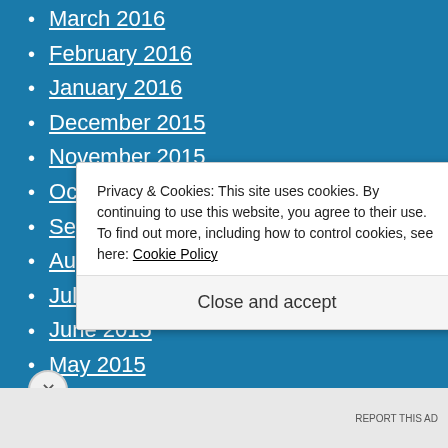March 2016
February 2016
January 2016
December 2015
November 2015
October 2015
September 2015
August 2015
July 2015
June 2015
May 2015
Privacy & Cookies: This site uses cookies. By continuing to use this website, you agree to their use.
To find out more, including how to control cookies, see here: Cookie Policy
Close and accept